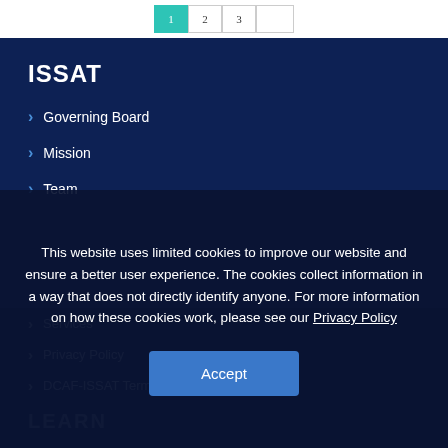[Figure (screenshot): Pagination controls at top of page with teal active button]
ISSAT
Governing Board
Mission
Team
Services
Privacy Policy
DCAF-ISSAT Terms and Conditions of Use
This website uses limited cookies to improve our website and ensure a better user experience. The cookies collect information in a way that does not directly identify anyone. For more information on how these cookies work, please see our Privacy Policy
LEARN